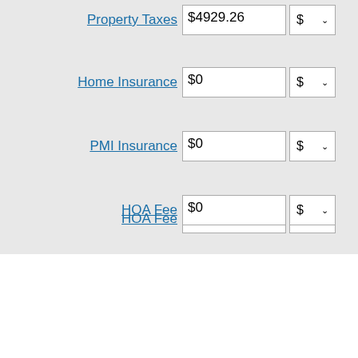Property Taxes  $4929.26  $  ↓
Home Insurance  $0  $  ↓
PMI Insurance  $0  $  ↓
HOA Fee  $0  $  ↓
Other Costs  $0.00  $  ↓
+ More Options
Calculate
Monthly Pay:   $8,743.73
|  | Monthly | Total |
| --- | --- | --- |
| Mortgage Payment | $8,743.73 | $2,623,118.06 |
| Property Tax | $410.77 | $123,231.50 |
| Total Out-of-Pocket | $9,154.50 | $2,746,349.56 |